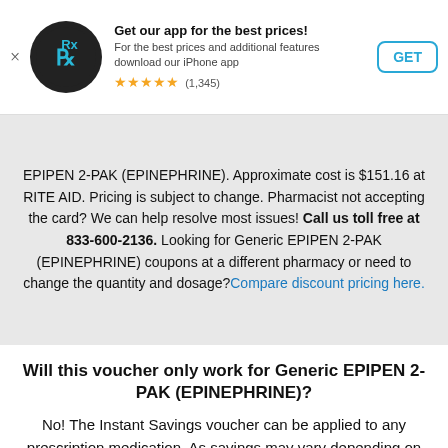[Figure (logo): App banner with RX logo, title 'Get our app for the best prices!', subtitle, star rating (1,345 reviews), and GET button]
EPIPEN 2-PAK (EPINEPHRINE). Approximate cost is $151.16 at RITE AID. Pricing is subject to change. Pharmacist not accepting the card? We can help resolve most issues! Call us toll free at 833-600-2136. Looking for Generic EPIPEN 2-PAK (EPINEPHRINE) coupons at a different pharmacy or need to change the quantity and dosage? Compare discount pricing here.
Will this voucher only work for Generic EPIPEN 2-PAK (EPINEPHRINE)?
No! The Instant Savings voucher can be applied to any prescription medication. As savings may vary depending on the medication and certain variables, please search for your desired medication for the specific coupon.